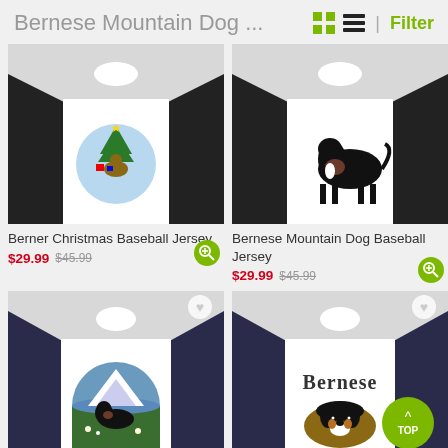Bernese Mountain Dog ... | Filter
[Figure (photo): Man wearing Berner Christmas Baseball Jersey - baseball-style shirt with black sleeves and white body, featuring Christmas tree and dog graphic]
Berner Christmas Baseball Jersey
$29.99  $45.99
[Figure (photo): Man wearing Bernese Mountain Dog Baseball Jersey - baseball-style shirt with black sleeves and white body, featuring Bernese Mountain Dog silhouette graphic]
Bernese Mountain Dog Baseball Jersey
$29.99  $45.99
[Figure (photo): Man wearing navy/white baseball jersey with circular mountain dog scene graphic]
[Figure (photo): Man wearing navy/white baseball jersey with Bernese text and puppy face graphic]